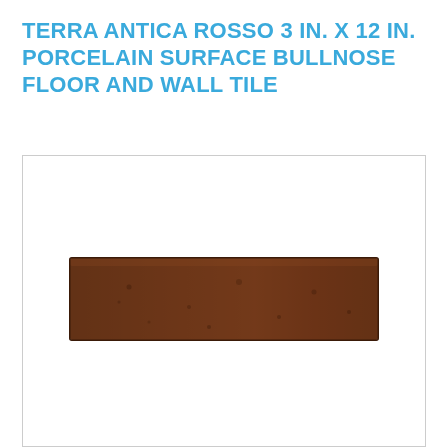TERRA ANTICA ROSSO 3 IN. X 12 IN. PORCELAIN SURFACE BULLNOSE FLOOR AND WALL TILE
[Figure (photo): A rectangular terra cotta / dark reddish-brown porcelain bullnose tile, shown horizontally centered on white background inside a light gray bordered box.]
IN STOCK
$4.72
Qty:
1
ADD TO CART